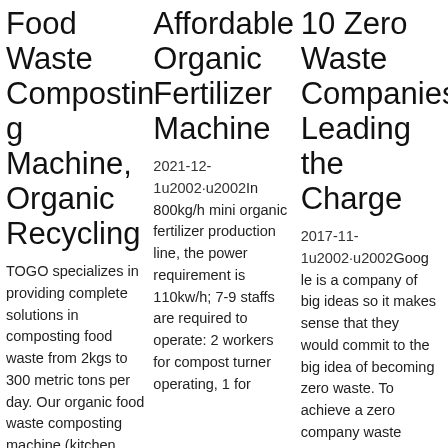Food Waste Composting Machine, Organic Recycling
TOGO specializes in providing complete solutions in composting food waste from 2kgs to 300 metric tons per day. Our organic food waste composting machine (kitchen
Affordable Organic Fertilizer Machine
2021-12-1u2002·u2002In 800kg/h mini organic fertilizer production line, the power requirement is 110kw/h; 7-9 staffs are required to operate: 2 workers for compost turner operating, 1 for
10 Zero Waste Companies Leading the Charge
2017-11-1u2002·u2002Google is a company of big ideas so it makes sense that they would commit to the big idea of becoming zero waste. To achieve a zero company waste status,